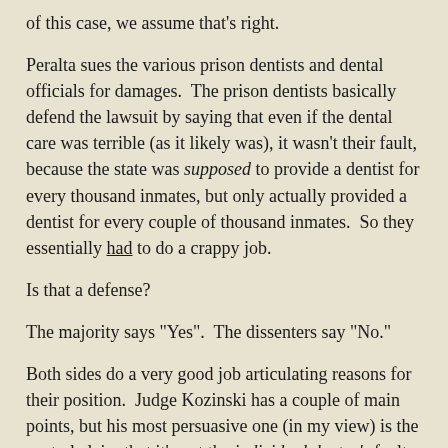of this case, we assume that's right.
Peralta sues the various prison dentists and dental officials for damages.  The prison dentists basically defend the lawsuit by saying that even if the dental care was terrible (as it likely was), it wasn't their fault, because the state was supposed to provide a dentist for every thousand inmates, but only actually provided a dentist for every couple of thousand inmates.  So they essentially had to do a crappy job.
Is that a defense?
The majority says "Yes".  The dissenters say "No."
Both sides do a very good job articulating reasons for their position.  Judge Kozinski has a couple of main points, but his most persuasive one (in my view) is the central claim that it's not the individual doctor's fault that Peralta's rights were violated, but instead the state's fault for not providing enough money for enough dentists.  And since you can't sue the state (for money, anyway), Peralta's out of luck.  That's